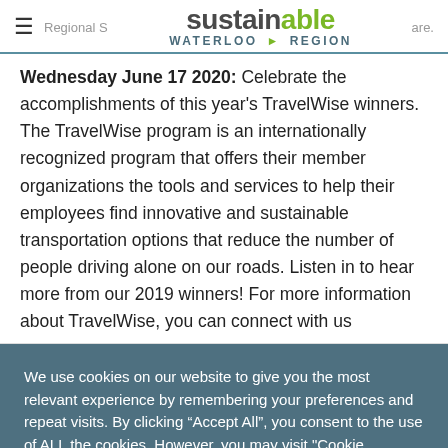sustainable WATERLOO ▸ REGION
Wednesday June 17 2020: Celebrate the accomplishments of this year's TravelWise winners. The TravelWise program is an internationally recognized program that offers their member organizations the tools and services to help their employees find innovative and sustainable transportation options that reduce the number of people driving alone on our roads. Listen in to hear more from our 2019 winners! For more information about TravelWise, you can connect with us
We use cookies on our website to give you the most relevant experience by remembering your preferences and repeat visits. By clicking "Accept All", you consent to the use of ALL the cookies. However, you may visit "Cookie Settings" to provide a controlled consent.